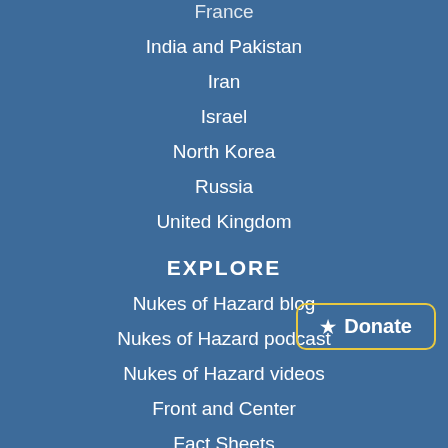France
India and Pakistan
Iran
Israel
North Korea
Russia
United Kingdom
EXPLORE
Nukes of Hazard blog
Nukes of Hazard podcast
Nukes of Hazard videos
Front and Center
Fact Sheets
[Figure (other): Donate button with star icon, yellow border, white text on blue background]
ABOUT